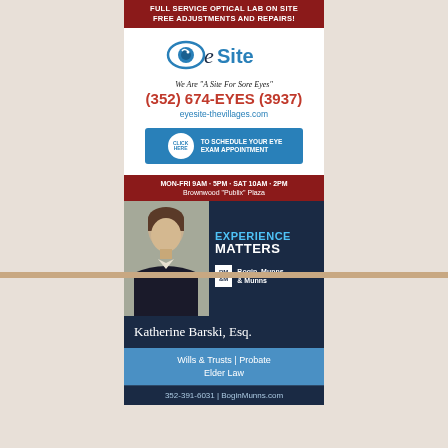[Figure (infographic): EyeSite optical ad with logo, phone number (352) 674-EYES (3937), website eyesite-thevillages.com, CTA button to schedule eye exam, hours MON-FRI 9AM-5PM SAT 10AM-2PM, Brownwood Publix Plaza]
[Figure (infographic): Bogin Munns & Munns law firm ad featuring Katherine Barski Esq., Experience Matters tagline, Wills & Trusts, Probate, Elder Law, 352-391-6031, BoginMunns.com]